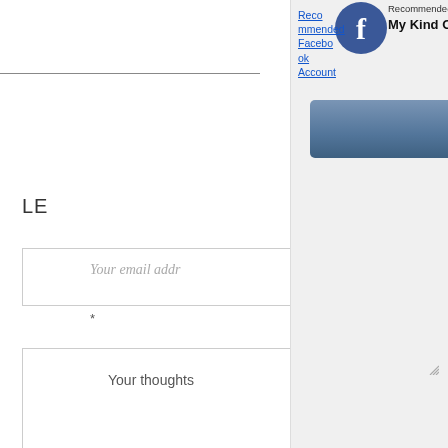[Figure (screenshot): A webpage showing a comment/leave-a-reply form with fields for email address and thoughts/comments. A MiloTree popup overlay appears on the right side of the page showing a recommended Facebook account widget for 'My Kind Of Sweet - Style + S...' with a 'Like on Facebook' button in blue-grey, and a 'Powered by MiloTree' footer with an X CLOSE button. The Facebook logo icon is visible. The background page has a horizontal rule, 'LE' text (truncated 'LEAVE A REPLY'), email input field with placeholder 'Your email addr', a required field star, and a large textarea with 'Your thoughts' label and resize handle.]